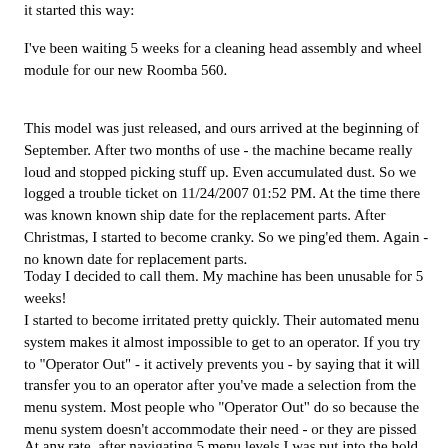it started this way:
I've been waiting 5 weeks for a cleaning head assembly and wheel module for our new Roomba 560.
This model was just released, and ours arrived at the beginning of September. After two months of use - the machine became really loud and stopped picking stuff up. Even accumulated dust. So we logged a trouble ticket on 11/24/2007 01:52 PM. At the time there was known known ship date for the replacement parts. After Christmas, I started to become cranky. So we ping'ed them. Again - no known date for replacement parts.
Today I decided to call them. My machine has been unusable for 5 weeks!
I started to become irritated pretty quickly. Their automated menu system makes it almost impossible to get to an operator. If you try to "Operator Out" - it actively prevents you - by saying that it will transfer you to an operator after you've made a selection from the menu system. Most people who "Operator Out" do so because the menu system doesn't accommodate their need - or they are pissed enough they just want to get to an operator.
At any rate, after navigating 5 menu levels I was put into the hold queue.